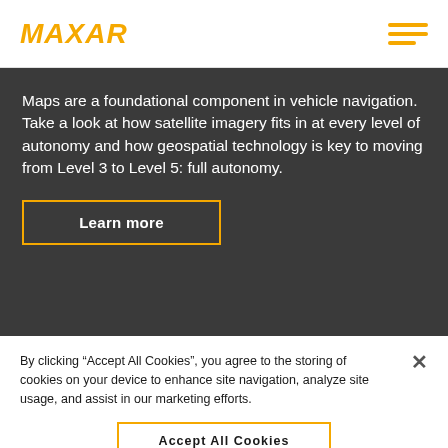MAXAR
Maps are a foundational component in vehicle navigation. Take a look at how satellite imagery fits in at every level of autonomy and how geospatial technology is key to moving from Level 3 to Level 5: full autonomy.
Learn more
By clicking “Accept All Cookies”, you agree to the storing of cookies on your device to enhance site navigation, analyze site usage, and assist in our marketing efforts.
Accept All Cookies